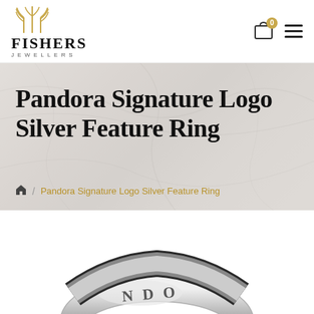[Figure (logo): Fishers Jewellers logo with golden wheat/feather icon above the text FISHERS JEWELLERS]
[Figure (other): Shopping cart icon with badge showing 0, and hamburger menu icon]
Pandora Signature Logo Silver Feature Ring
🏠 / Pandora Signature Logo Silver Feature Ring
[Figure (photo): Close-up photo of a silver Pandora ring with logo engraving, on a marble background]